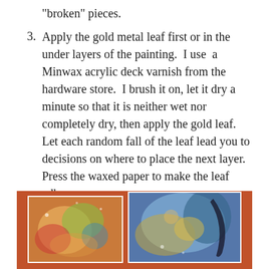“broken” pieces.
Apply the gold metal leaf first or in the under layers of the painting.  I use  a Minwax acrylic deck varnish from the hardware store.  I brush it on, let it dry a minute so that it is neither wet nor completely dry, then apply the gold leaf.  Let each random fall of the leaf lead you to decisions on where to place the next layer.  Press the waxed paper to make the leaf adhere.
[Figure (photo): Two colorful paintings displayed on a rust/orange background. Left painting shows warm floral/abstract tones. Right painting shows cool blue and gold tones with abstract imagery.]